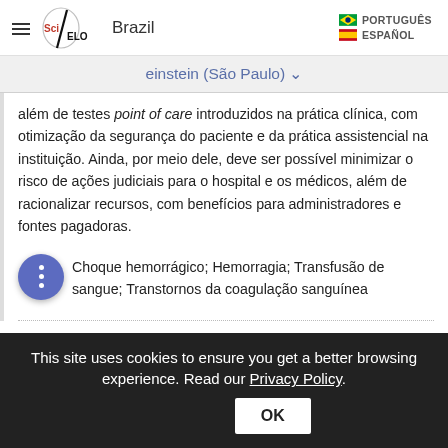SciELO Brazil | PORTUGUÊS | ESPAÑOL
einstein (São Paulo)
além de testes point of care introduzidos na prática clínica, com otimização da segurança do paciente e da prática assistencial na instituição. Ainda, por meio dele, deve ser possível minimizar o risco de ações judiciais para o hospital e os médicos, além de racionalizar recursos, com benefícios para administradores e fontes pagadoras.
Choque hemorrágico; Hemorragia; Transfusão de sangue; Transtornos da coagulação sanguínea
This site uses cookies to ensure you get a better browsing experience. Read our Privacy Policy.